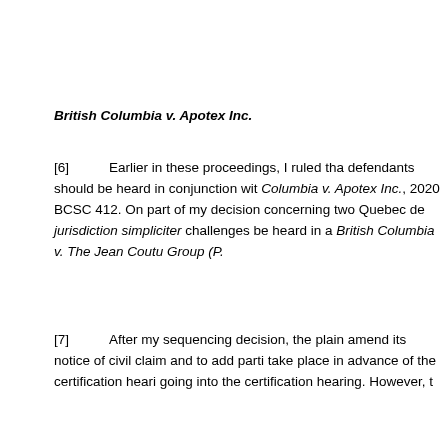British Columbia v. Apotex Inc.
[6]	Earlier in these proceedings, I ruled tha defendants should be heard in conjunction wit Columbia v. Apotex Inc., 2020 BCSC 412. On part of my decision concerning two Quebec de jurisdiction simpliciter challenges be heard in a British Columbia v. The Jean Coutu Group (P.
[7]	After my sequencing decision, the plain amend its notice of civil claim and to add parti take place in advance of the certification heari going into the certification hearing. However, t